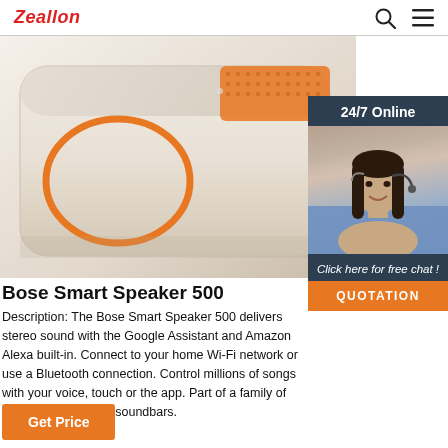Zeallon
[Figure (photo): Bose Smart Speaker 500 product photo showing white rectangular speaker with orange oval ring detail and orange mesh top grille. Overlaid with a customer chat widget showing '24/7 Online', a woman with headset, 'Click here for free chat!' text, and a QUOTATION button.]
Bose Smart Speaker 500
Description: The Bose Smart Speaker 500 delivers stereo sound with the Google Assistant and Amazon Alexa built-in. Connect to your home Wi-Fi network or use a Bluetooth connection. Control millions of songs with your voice, touch or the app. Part of a family of smart speakers and soundbars.
Get Price